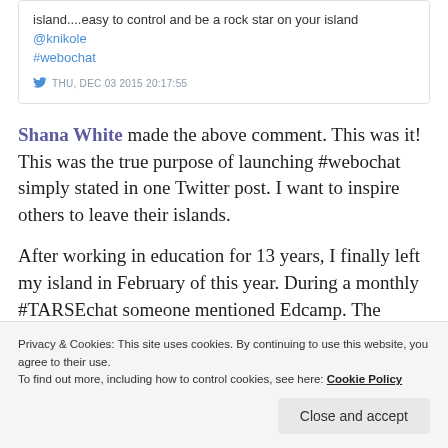island....easy to control and be a rock star on your island @knikole #webochat
THU, DEC 03 2015 20:17:55
Shana White made the above comment. This was it! This was the true purpose of launching #webochat simply stated in one Twitter post. I want to inspire others to leave their islands.
After working in education for 13 years, I finally left my island in February of this year. During a monthly #TARSEchat someone mentioned Edcamp. The
Privacy & Cookies: This site uses cookies. By continuing to use this website, you agree to their use.
To find out more, including how to control cookies, see here: Cookie Policy